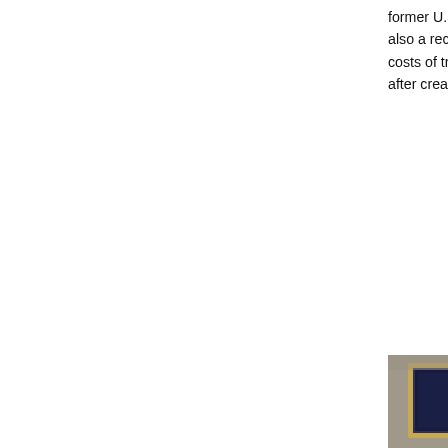former U.S. president Herbert Hoover and retired different floors of the hotel. A plaque affixed to the is also a recreation of one of the living room of Hoo Presidential Library and Museum. In 1955, Marilyn to costs of trying to finance her production compar a week for her role in The Seven Year Itch and bei Fox after creative differences, living at the hotel be different hotel in New York City.
[Figure (photo): Exterior entrance of a hotel building showing ornate stone facade, a framed artwork/poster on the left, a number sign reading '301' on the wall, and revolving door entrance on the right.]